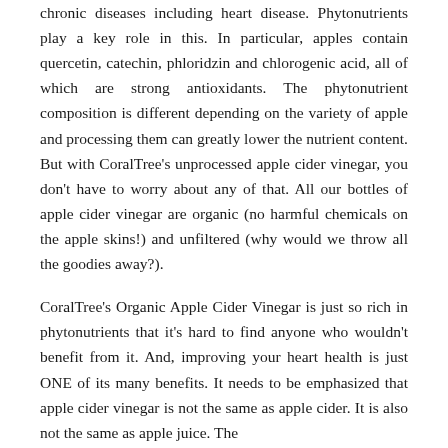chronic diseases including heart disease. Phytonutrients play a key role in this. In particular, apples contain quercetin, catechin, phloridzin and chlorogenic acid, all of which are strong antioxidants. The phytonutrient composition is different depending on the variety of apple and processing them can greatly lower the nutrient content. But with CoralTree's unprocessed apple cider vinegar, you don't have to worry about any of that. All our bottles of apple cider vinegar are organic (no harmful chemicals on the apple skins!) and unfiltered (why would we throw all the goodies away?).
CoralTree's Organic Apple Cider Vinegar is just so rich in phytonutrients that it's hard to find anyone who wouldn't benefit from it. And, improving your heart health is just ONE of its many benefits. It needs to be emphasized that apple cider vinegar is not the same as apple cider. It is also not the same as apple juice. The